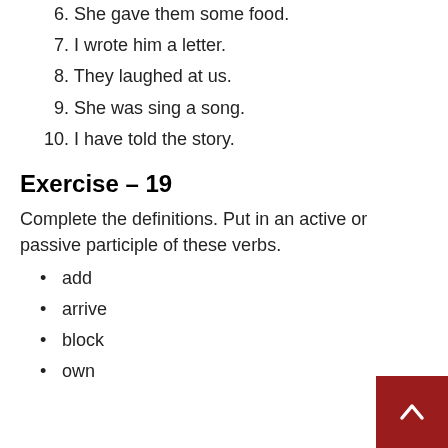6. She gave them some food.
7. I wrote him a letter.
8. They laughed at us.
9. She was sing a song.
10. I have told the story.
Exercise – 19
Complete the definitions. Put in an active or passive participle of these verbs.
add
arrive
block
own